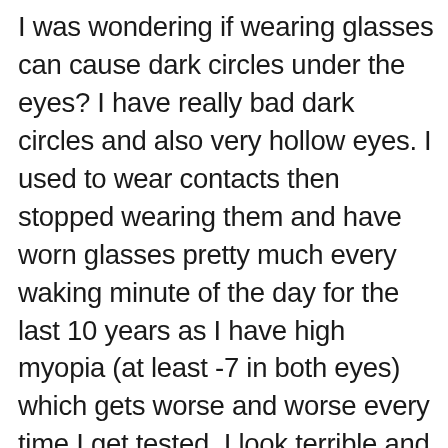I was wondering if wearing glasses can cause dark circles under the eyes? I have really bad dark circles and also very hollow eyes. I used to wear contacts then stopped wearing them and have worn glasses pretty much every waking minute of the day for the last 10 years as I have high myopia (at least -7 in both eyes) which gets worse and worse every time I get tested. I look terrible and can only attribute it to either the glasses or poor nutrition as I don't have the best diet so it's possible it's that. I get enough sleep and am only 30 but I look awful! I know the eye exercises work as I tried them around 10 years ago and my vision did improve but I got lazy and stopped so I need to do them again and stop wearing glasses as much as possible but I kinda need them to hide the terrible dark circles I have! Is there any